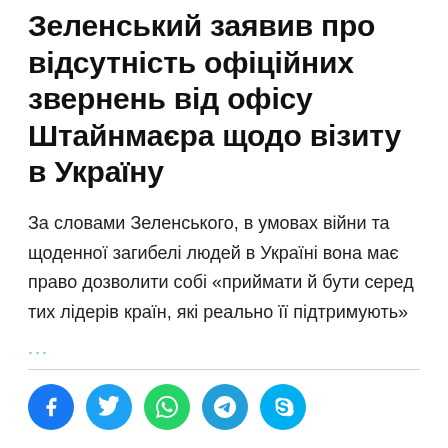Зеленський заявив про відсутність офіційних звернень від офісу Штайнмаєра щодо візиту в Україну
За словами Зеленського, в умовах війни та щоденної загибелі людей в Україні вона має право дозволити собі «приймати й бути серед тих лідерів країн, які реально її підтримують»
...